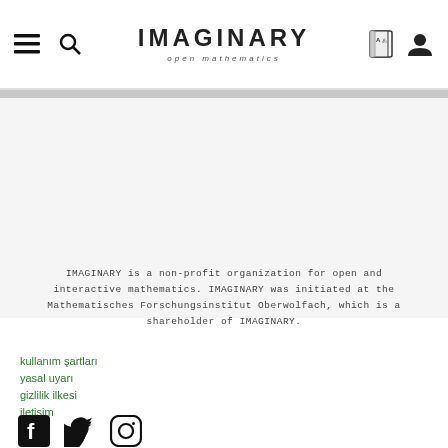IMAGINARY open mathematics — navigation header with hamburger menu, search icon, language selector, and user icon
IMAGINARY is a non-profit organization for open and interactive mathematics. IMAGINARY was initiated at the Mathematisches Forschungsinstitut Oberwolfach, which is a shareholder of IMAGINARY.
kullanım şartları
yasal uyarı
gizlilik ilkesi
iletişim
[Figure (logo): Social media icons: Facebook, Twitter, Instagram]